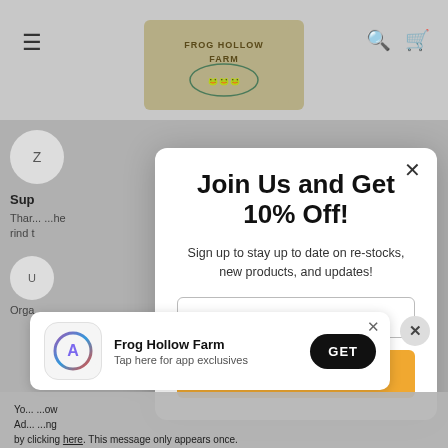[Figure (screenshot): Frog Hollow Farm website header with logo, hamburger menu, search and cart icons, dimmed behind modal overlay]
Join Us and Get 10% Off!
Sign up to stay up to date on re-stocks, new products, and updates!
Email Address
Subscribe
Frog Hollow Farm
Tap here for app exclusives
by clicking here. This message only appears once.